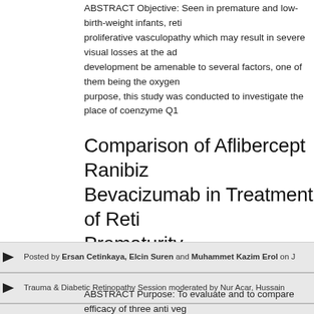ABSTRACT Objective: Seen in premature and low-birth-weight infants, retinopathy of prematurity is a proliferative vasculopathy which may result in severe visual losses at the advanced stages. Its development be amenable to several factors, one of them being the oxygen free radicals. For this purpose, this study was conducted to investigate the place of coenzyme Q1...
Comparison of Aflibercept Ranibizumab and Bevacizumab in Treatment of Retinopathy of Prematurity
Posted by Ersan Cetinkaya, Elcin Suren and Muhammet Kazim Erol on J...
Trauma & Diabetic Retinopathy Session moderated by Nur Acar, Hussain...
Yan. 1 - Pediatric Retina. 2018 EVRS Congress – Prague. 3-Saturday, Se...
ABSTRACT Purpose: To evaluate and to compare efficacy of three anti veg... bevacizumab) in treatment of retinopathy of prematurity(ROP). Method: 228...